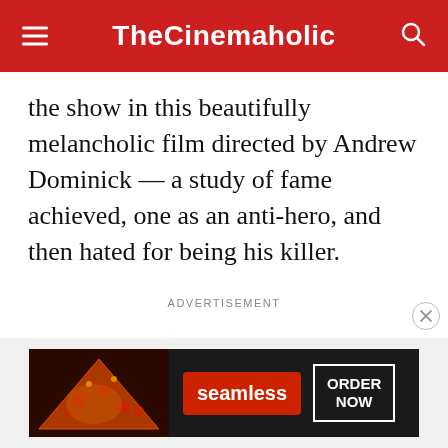TheCinemaholic
the show in this beautifully melancholic film directed by Andrew Dominick — a study of fame achieved, one as an anti-hero, and then hated for being his killer.
ADVERTISEMENT
[Figure (other): Seamless food delivery advertisement banner with pizza image, Seamless logo, and ORDER NOW button]